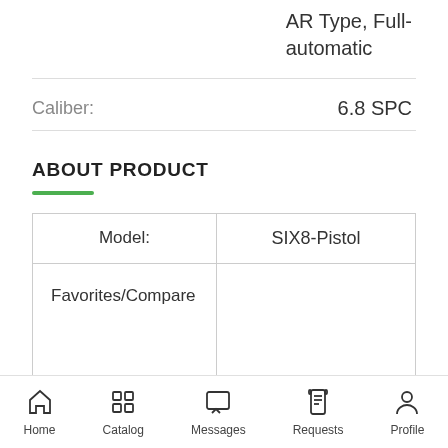AR Type, Full-automatic
Caliber: 6.8 SPC
ABOUT PRODUCT
| Model: | SIX8-Pistol |
| --- | --- |
| Favorites/Compare |  |
Home  Catalog  Messages  Requests  Profile